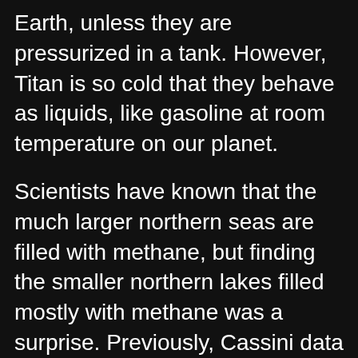Earth, unless they are pressurized in a tank. However, Titan is so cold that they behave as liquids, like gasoline at room temperature on our planet.
Scientists have known that the much larger northern seas are filled with methane, but finding the smaller northern lakes filled mostly with methane was a surprise. Previously, Cassini data measured Ontario Lacus, the only major lake in Titan's southern hemisphere. There they found a roughly equal mix of methane and ethane. Ethane is slightly heavier than methane,